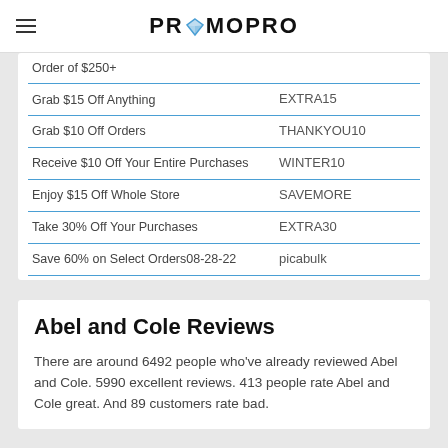PROMOPRO
| Description | Code |
| --- | --- |
| Order of $250+ |  |
| Grab $15 Off Anything | EXTRA15 |
| Grab $10 Off Orders | THANKYOU10 |
| Receive $10 Off Your Entire Purchases | WINTER10 |
| Enjoy $15 Off Whole Store | SAVEMORE |
| Take 30% Off Your Purchases | EXTRA30 |
| Save 60% on Select Orders08-28-22 | picabulk |
Abel and Cole Reviews
There are around 6492 people who've already reviewed Abel and Cole. 5990 excellent reviews. 413 people rate Abel and Cole great. And 89 customers rate bad.